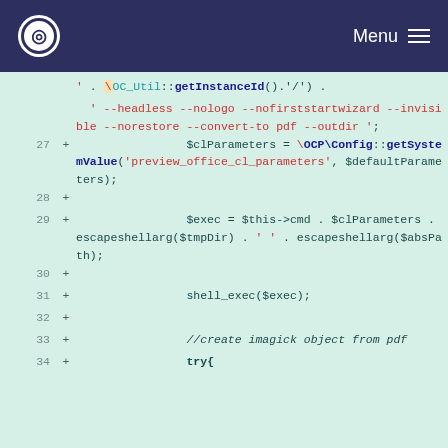Menu
[Figure (screenshot): Code diff viewer showing PHP code lines 27-34 with line numbers, plus signs indicating additions, on a mint-green background. Code includes $clParameters, \OCP\Config::getSystemValue, $exec, shell_exec, and try{ statements.]